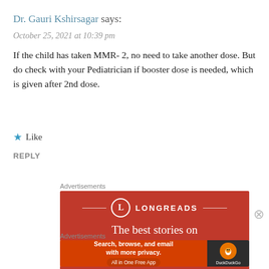Dr. Gauri Kshirsagar says:
October 25, 2021 at 10:39 pm
If the child has taken MMR- 2, no need to take another dose. But do check with your Pediatrician if booster dose is needed, which is given after 2nd dose.
★ Like
REPLY
Advertisements
[Figure (illustration): Longreads advertisement banner with red background showing the Longreads logo and text 'The best stories on']
Advertisements
[Figure (illustration): DuckDuckGo advertisement: 'Search, browse, and email with more privacy. All in One Free App' with DuckDuckGo logo on dark background]